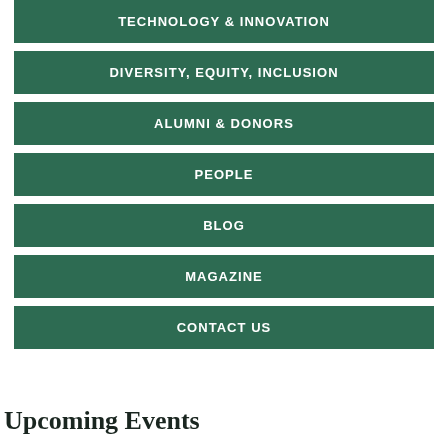TECHNOLOGY & INNOVATION
DIVERSITY, EQUITY, INCLUSION
ALUMNI & DONORS
PEOPLE
BLOG
MAGAZINE
CONTACT US
Upcoming Events